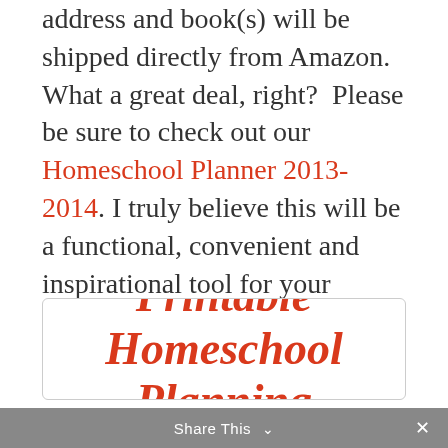address and book(s) will be shipped directly from Amazon. What a great deal, right?  Please be sure to check out our Homeschool Planner 2013-2014. I truly believe this will be a functional, convenient and inspirational tool for your homeschool. Thank you!
a Rafflecopter giveaway
[Figure (other): Promotional banner with cursive red text reading 'Get FREE Printable Homeschool Planning Pages!' in a rounded rectangle box]
Share This ×